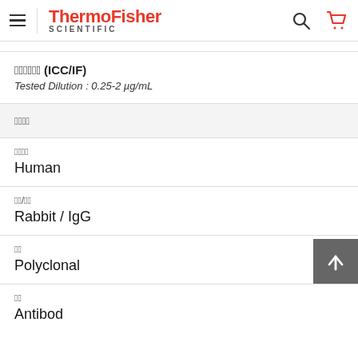ThermoFisher SCIENTIFIC
免疫细胞化学 (ICC/IF)
Tested Dilution : 0.25-2 µg/mL
产品详情
种属
Human
宿主/类型
Rabbit / IgG
形式
Polyclonal
类型
Antibod...